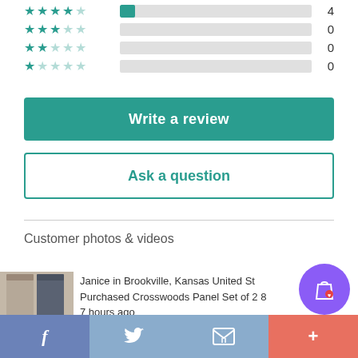[Figure (other): Star rating breakdown with 4 rows: 4-star row with small teal bar fill and count 4; 3-star row with empty bar and count 0; 2-star row with empty bar and count 0; 1-star row with empty bar and count 0]
Write a review
Ask a question
Customer photos & videos
Janice in Brookville, Kansas United St... Purchased Crosswoods Panel Set of 2 8... 7 hours ago
[Figure (photo): Product photo showing curtain panels - beige/tan panel on left and dark gray panel on right]
[Figure (other): Bottom navigation bar with Facebook, Twitter, email/envelope, and plus icons]